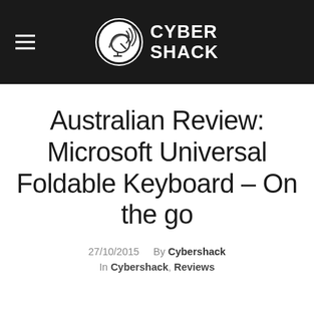Cyber Shack
Australian Review: Microsoft Universal Foldable Keyboard – On the go
27/10/2015   By Cybershack
In Cybershack, Reviews